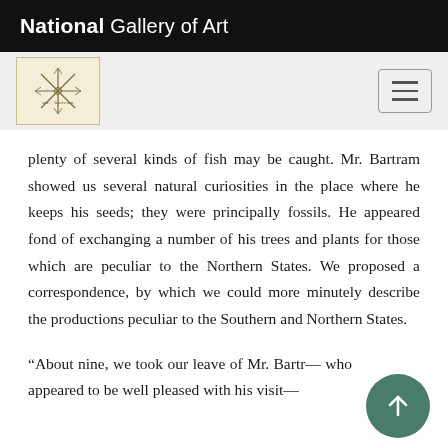National Gallery of Art
[Figure (logo): National Gallery of Art snowflake/asterisk logo mark in a beige square box, with hamburger menu button on the right]
plenty of several kinds of fish may be caught. Mr. Bartram showed us several natural curiosities in the place where he keeps his seeds; they were principally fossils. He appeared fond of exchanging a number of his trees and plants for those which are peculiar to the Northern States. We proposed a correspondence, by which we could more minutely describe the productions peculiar to the Southern and Northern States.
“About nine, we took our leave of Mr. Bartr— who appeared to be well pleased with his visit—